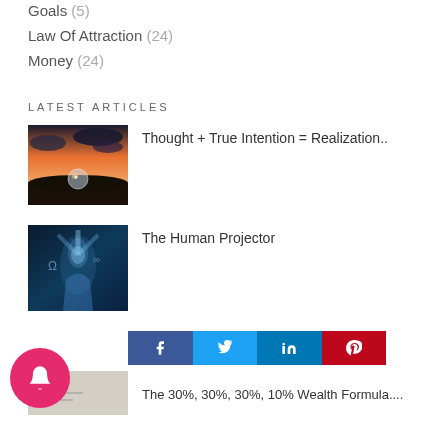Goals (5)
Law Of Attraction (24)
Money (24)
LATEST ARTICLES
[Figure (photo): Crystal ball on dark rocks with dramatic sunset sky in background]
Thought + True Intention = Realization..
[Figure (photo): Blue-toned ethereal image of a person with glowing light]
The Human Projector
[Figure (infographic): Social sharing buttons: Facebook, Twitter, LinkedIn, Pinterest]
The 30%, 30%, 30%, 10% Wealth Formula....